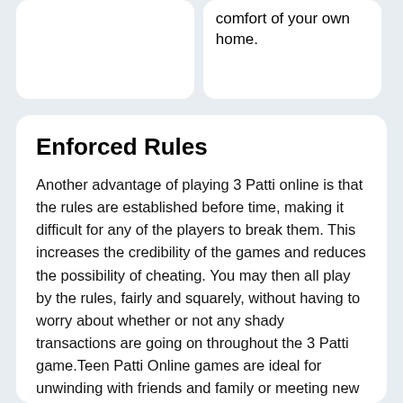comfort of your own home.
Enforced Rules
Another advantage of playing 3 Patti online is that the rules are established before time, making it difficult for any of the players to break them. This increases the credibility of the games and reduces the possibility of cheating. You may then all play by the rules, fairly and squarely, without having to worry about whether or not any shady transactions are going on throughout the 3 Patti game.Teen Patti Online games are ideal for unwinding with friends and family or meeting new people. You improve as you play this thrilling game that is gaining popularity all around the world. Its similarities to normal poker make it simple to learn and master.